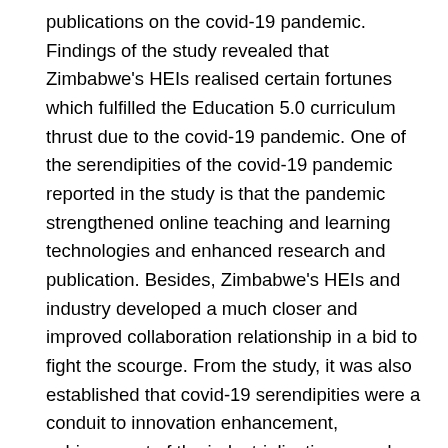publications on the covid-19 pandemic. Findings of the study revealed that Zimbabwe's HEIs realised certain fortunes which fulfilled the Education 5.0 curriculum thrust due to the covid-19 pandemic. One of the serendipities of the covid-19 pandemic reported in the study is that the pandemic strengthened online teaching and learning technologies and enhanced research and publication. Besides, Zimbabwe's HEIs and industry developed a much closer and improved collaboration relationship in a bid to fight the scourge. From the study, it was also established that covid-19 serendipities were a conduit to innovation enhancement, achievement of the industrialisation agenda, and bridging of the gap between HEIs and communities. Further to this, the pandemic brought about brand improvement and institutional visibility, fulfilment and motivation of employees derived from the room accorded to creative thinking and saving of employee operational costs as a result of working from home. This study, therefore, views the covid-19 pandemic not from a detrimental perspective but as having introduced a new lease of life into